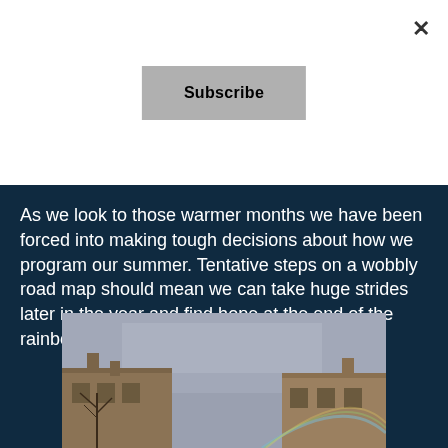Subscribe
As we look to those warmer months we have been forced into making tough decisions about how we program our summer. Tentative steps on a wobbly road map should mean we can take huge strides later in the year and find hope at the end of the rainbow.
[Figure (photo): A photograph taken from ground level looking up at two brick building facades against a grey sky with a faint rainbow visible in the lower right portion of the image.]